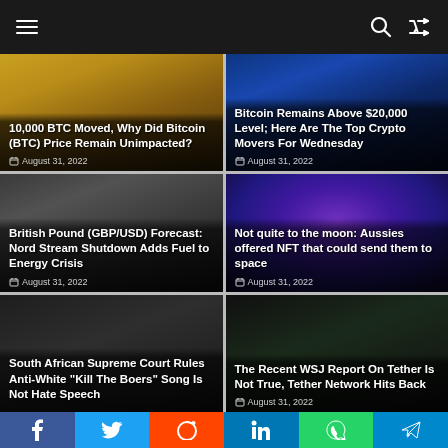Navigation bar with menu, search, and shuffle icons
[Figure (screenshot): News card: 10,000 BTC Moved, Why Did Bitcoin (BTC) Price Remain Unimpacted? — August 31, 2022 — gold bitcoin coin background]
[Figure (screenshot): News card: Bitcoin Remains Above $20,000 Level; Here Are The Top Crypto Movers For Wednesday — August 31, 2022 — dark teal BTC chart background]
[Figure (screenshot): News card: British Pound (GBP/USD) Forecast: Nord Stream Shutdown Adds Fuel to Energy Crisis — August 31, 2022 — dark coins background]
[Figure (screenshot): News card: Not quite to the moon: Aussies offered NFT that could send them to space — August 31, 2022 — purple/blue NFT molecule background]
[Figure (screenshot): News card: South African Supreme Court Rules Anti-White 'Kill The Boers' Song Is Not Hate Speech — August 31, 2022 — dark background]
[Figure (screenshot): News card: The Recent WSJ Report On Tether Is Not True, Tether Network Hits Back — August 31, 2022 — dark green background]
Social share bar: Facebook, Twitter, Reddit, LinkedIn, WhatsApp, Telegram